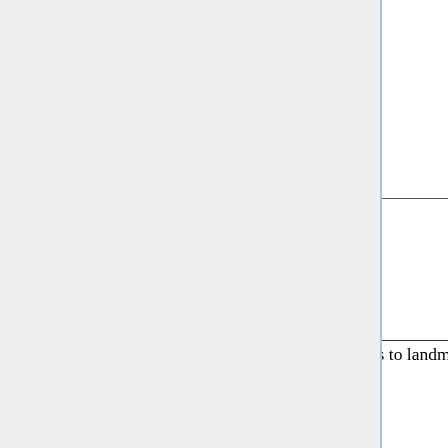| Method | Value |
| --- | --- |
| VGG16-GeM [20] | 4... |
| ResNet101-GeM [20] | 5... |
| ResNet101-R-MAC [6] | 5... |
| HesAff (best) [25] | 3... |
| DELF [17] | 5... |
| DELF–GLD (best) [24] | 5... |
| Ours (standard setting) | 5... |
| Ours (our classes) | 5... |
| Ours (revised junk) | 6... |
| Ours (revised junk + our classes) | 7... |
Comparison
Recent most efficient approaches to landmark recognition are built on fine-tuned CNN. We chose to compare our